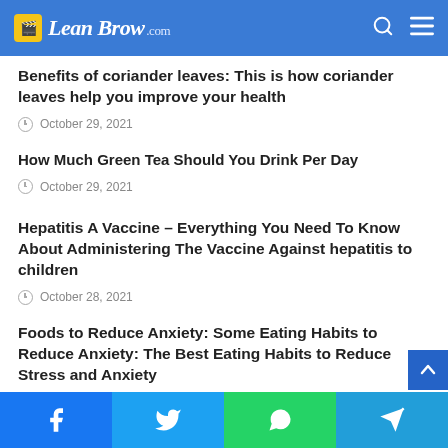LeanBrow.com
Benefits of coriander leaves: This is how coriander leaves help you improve your health
October 29, 2021
How Much Green Tea Should You Drink Per Day
October 29, 2021
Hepatitis A Vaccine – Everything You Need To Know About Administering The Vaccine Against hepatitis to children
October 28, 2021
Foods to Reduce Anxiety: Some Eating Habits to Reduce Anxiety: The Best Eating Habits to Reduce Stress and Anxiety
Facebook Twitter WhatsApp Telegram